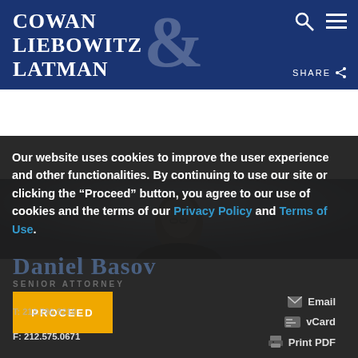[Figure (logo): Cowan Liebowitz & Latman law firm logo on dark navy blue header bar with large ampersand watermark]
[Figure (photo): Headshot of Daniel Basov, a man in a suit, partially visible behind cookie consent overlay]
Our website uses cookies to improve the user experience and other functionalities. By continuing to use our site or clicking the “Proceed” button, you agree to our use of cookies and the terms of our Privacy Policy and Terms of Use.
Daniel Basov
SENIOR ATTORNEY
PROCEED
T: 212.790.9210
F: 212.575.0671
Email
vCard
Print PDF